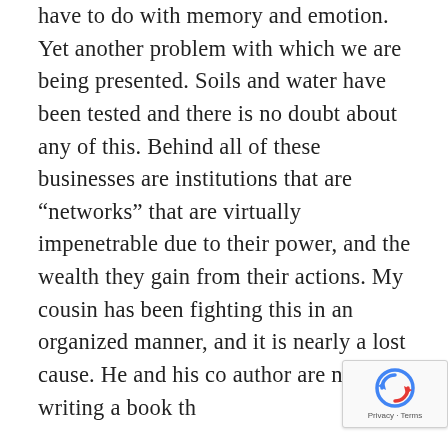have to do with memory and emotion. Yet another problem with which we are being presented. Soils and water have been tested and there is no doubt about any of this. Behind all of these businesses are institutions that are “networks” that are virtually impenetrable due to their power, and the wealth they gain from their actions. My cousin has been fighting this in an organized manner, and it is nearly a lost cause. He and his co author are now writing a book th